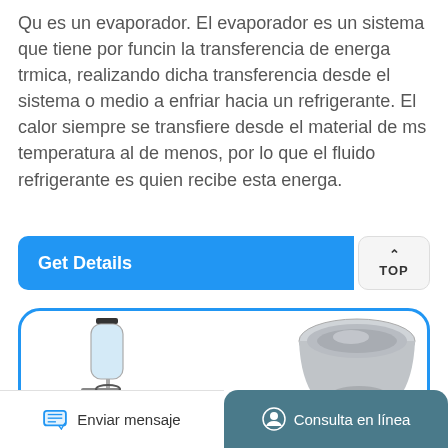Qu es un evaporador. El evaporador es un sistema que tiene por funcin la transferencia de energa trmica, realizando dicha transferencia desde el sistema o medio a enfriar hacia un refrigerante. El calor siempre se transfiere desde el material de ms temperatura al de menos, por lo que el fluido refrigerante es quien recibe esta energa.
Get Details
[Figure (screenshot): A blue-bordered card showing laboratory equipment: a glass bottle with stand and pressure gauge on the left, and a stainless steel bowl on the right.]
Enviar mensaje
Consulta en línea